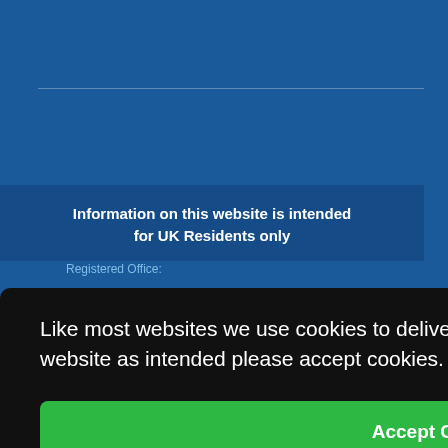[Figure (screenshot): Dark blue website background with a horizontal divider line near the top]
Information on this website is intended for UK Residents only
Registered Office:
Like most websites we use cookies to deliver a personalised service. To use the website as intended please accept cookies.
Accept Cookies